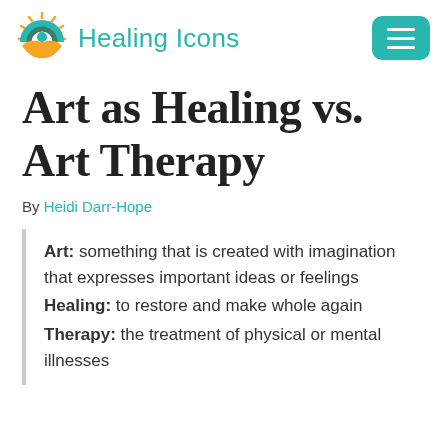[Figure (logo): Healing Icons logo with sun/rainbow/hand graphic in teal, green and orange, with site name 'Healing Icons' in teal text, and a teal hamburger menu button on the right]
Art as Healing vs. Art Therapy
By Heidi Darr-Hope
Art: something that is created with imagination that expresses important ideas or feelings
Healing: to restore and make whole again
Therapy: the treatment of physical or mental illnesses